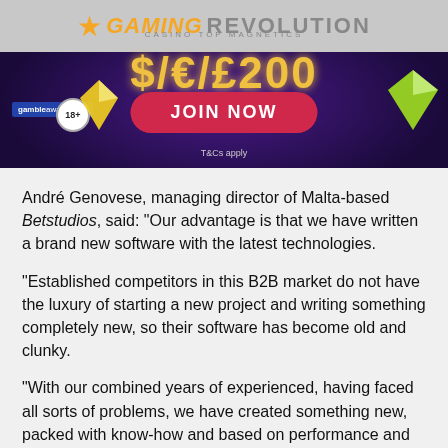[Figure (screenshot): Casino advertisement banner for Gaming Revolution with 'JOIN NOW' button, $//£200 bonus offer, gambleaware logo, 18+ badge, and T&Cs apply text on a dark purple space-themed background.]
André Genovese, managing director of Malta-based Betstudios, said: “Our advantage is that we have written a brand new software with the latest technologies.
“Established competitors in this B2B market do not have the luxury of starting a new project and writing something completely new, so their software has become old and clunky.
“With our combined years of experienced, having faced all sorts of problems, we have created something new, packed with know-how and based on performance and security.